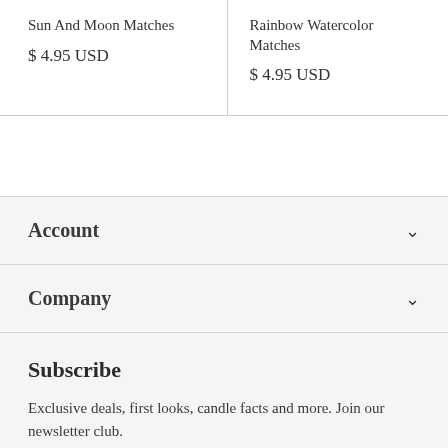Sun And Moon Matches
$ 4.95 USD
Rainbow Watercolor Matches
$ 4.95 USD
Account
Company
Subscribe
Exclusive deals, first looks, candle facts and more. Join our newsletter club.